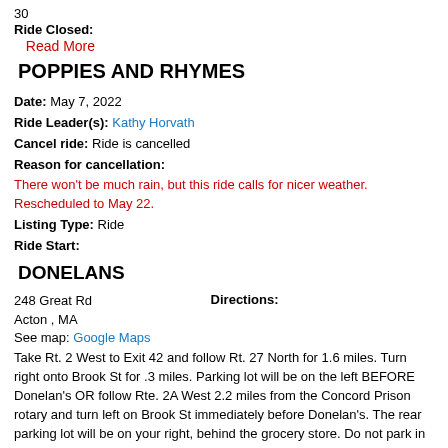30
Ride Closed:
Read More
POPPIES AND RHYMES
Date: May 7, 2022
Ride Leader(s): Kathy Horvath
Cancel ride: Ride is cancelled
Reason for cancellation:
There won't be much rain, but this ride calls for nicer weather. Rescheduled to May 22.
Listing Type: Ride
Ride Start:
DONELANS
248 Great Rd
Acton , MA
See map: Google Maps
Directions:
Take Rt. 2 West to Exit 42 and follow Rt. 27 North for 1.6 miles. Turn right onto Brook St for .3 miles. Parking lot will be on the left BEFORE Donelan's OR follow Rte. 2A West 2.2 miles from the Concord Prison rotary and turn left on Brook St immediately before Donelan's. The rear parking lot will be on your right, behind the grocery store. Do not park in front of the stores in the area reserved for customer parking.